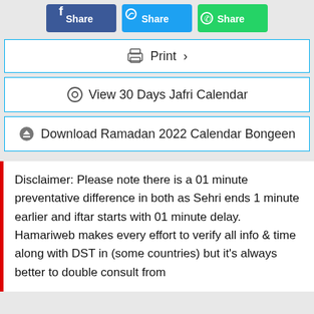[Figure (screenshot): Three share buttons: Facebook Share (blue), Twitter Share (blue), WhatsApp Share (green)]
Print >
View 30 Days Jafri Calendar
Download Ramadan 2022 Calendar Bongeen
Disclaimer: Please note there is a 01 minute preventative difference in both as Sehri ends 1 minute earlier and iftar starts with 01 minute delay. Hamariweb makes every effort to verify all info & time along with DST in (some countries) but it's always better to double consult from